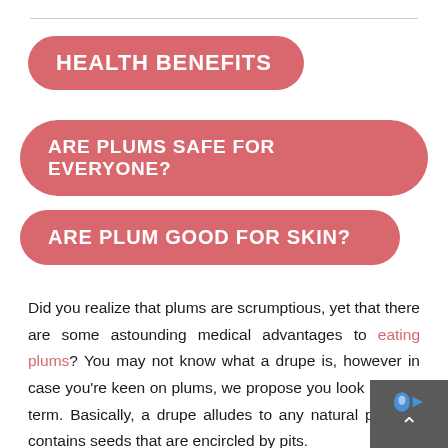HEALTH BENEFITS
ARE PLUMS SAFE FOR EVERYONE?
ARE PLUM GOOD FOR SKIN?
Did you realize that plums are scrumptious, yet that there are some astounding medical advantages to eating plums? You may not know what a drupe is, however in case you're keen on plums, we propose you look into the term. Basically, a drupe alludes to any natural pro that contains seeds that are encircled by pits.